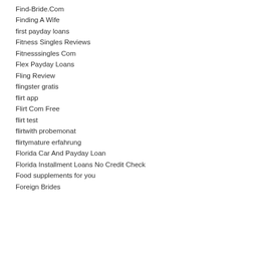Find-Bride.Com
Finding A Wife
first payday loans
Fitness Singles Reviews
Fitnesssingles Com
Flex Payday Loans
Fling Review
flingster gratis
flirt app
Flirt Com Free
flirt test
flirtwith probemonat
flirtymature erfahrung
Florida Car And Payday Loan
Florida Installment Loans No Credit Check
Food supplements for you
Foreign Brides